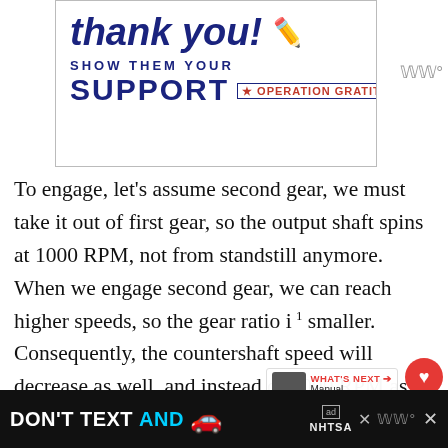[Figure (illustration): Advertisement banner: 'thank you! SHOW THEM YOUR SUPPORT OPERATION GRATITUDE' with pencil graphic and patriotic styling]
To engage, let's assume second gear, we must take it out of first gear, so the output shaft spins at 1000 RPM, not from standstill anymore. When we engage second gear, we can reach higher speeds, so the gear ratio is smaller. Consequently, the countershaft speed will decrease as well, and instead of 2000 RPM as before, now we will have RPM (presumably). Remember that, initially,
[Figure (illustration): Bottom advertisement banner: 'DON'T TEXT AND [car emoji]' with NHTSA ad badge on black background]